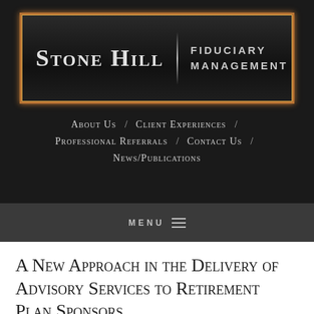[Figure (logo): Stone Hill Fiduciary Management logo — black background with gold/copper border, left side shows 'Stone Hill' in large serif small-caps white text, vertical divider line, right side shows 'Fiduciary Management' in bold uppercase sans-serif text]
About Us / Client Experiences / Professional Referrals / Contact Us / News/Publications
MENU ≡
A New Approach in the Delivery of Advisory Services to Retirement Plan Sponsors